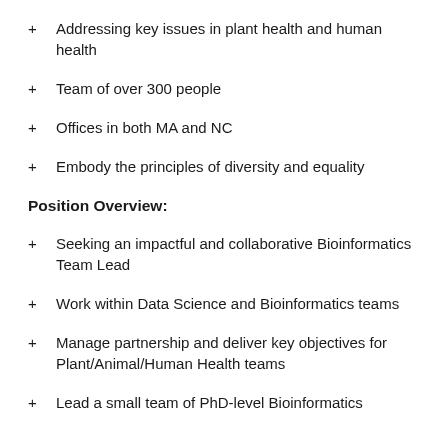Addressing key issues in plant health and human health
Team of over 300 people
Offices in both MA and NC
Embody the principles of diversity and equality
Position Overview:
Seeking an impactful and collaborative Bioinformatics Team Lead
Work within Data Science and Bioinformatics teams
Manage partnership and deliver key objectives for Plant/Animal/Human Health teams
Lead a small team of PhD-level Bioinformatics